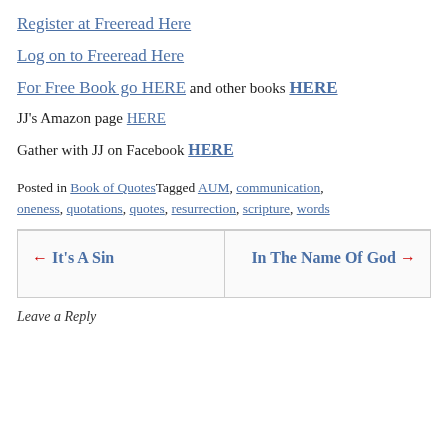Register at Freeread Here
Log on to Freeread Here
For Free Book go HERE and other books HERE
JJ's Amazon page HERE
Gather with JJ on Facebook HERE
Posted in Book of Quotes Tagged AUM, communication, oneness, quotations, quotes, resurrection, scripture, words
← It's A Sin
In The Name Of God ⇒
Leave a Reply